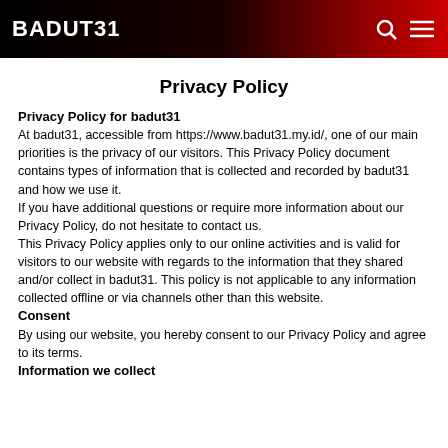BADUT31
Privacy Policy
Privacy Policy for badut31
At badut31, accessible from https://www.badut31.my.id/, one of our main priorities is the privacy of our visitors. This Privacy Policy document contains types of information that is collected and recorded by badut31 and how we use it.
If you have additional questions or require more information about our Privacy Policy, do not hesitate to contact us.
This Privacy Policy applies only to our online activities and is valid for visitors to our website with regards to the information that they shared and/or collect in badut31. This policy is not applicable to any information collected offline or via channels other than this website.
Consent
By using our website, you hereby consent to our Privacy Policy and agree to its terms.
Information we collect